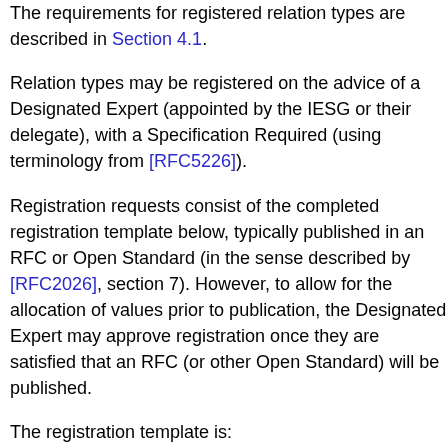The requirements for registered relation types are described in Section 4.1.
Relation types may be registered on the advice of a Designated Expert (appointed by the IESG or their delegate), with a Specification Required (using terminology from [RFC5226]).
Registration requests consist of the completed registration template below, typically published in an RFC or Open Standard (in the sense described by [RFC2026], section 7). However, to allow for the allocation of values prior to publication, the Designated Expert may approve registration once they are satisfied that an RFC (or other Open Standard) will be published.
The registration template is:
Relation Name:
Description:
Reference: